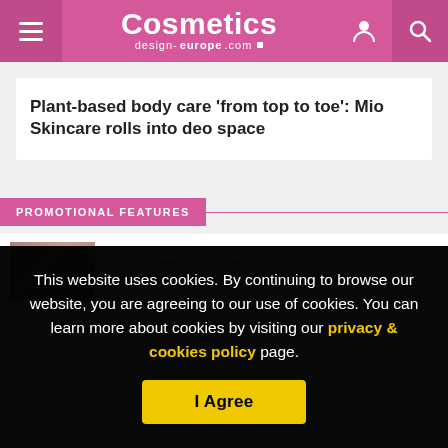Cosmetics design-europe.com
Plant-based body care ‘from top to toe’: Mio Skincare rolls into deo space
PROMOTIONAL FEATURES
BY BASF PERSONAL CARE SOLUTIONS – A GLOBALLY LEADING SUPPLIER
This website uses cookies. By continuing to browse our website, you are agreeing to our use of cookies. You can learn more about cookies by visiting our privacy & cookies policy page.